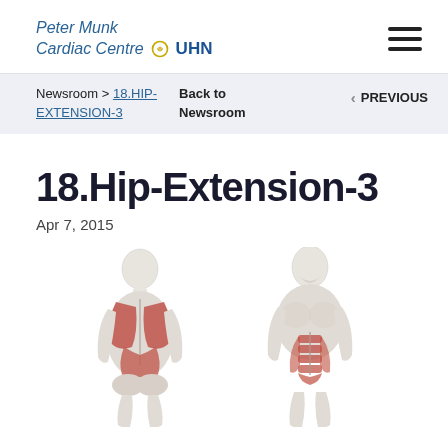Peter Munk Cardiac Centre UHN
Newsroom > 18.HIP-EXTENSION-3   Back to Newsroom   < PREVIOUS
18.Hip-Extension-3
Apr 7, 2015
[Figure (illustration): Two anatomical human body illustrations showing muscular structure: one from the back view highlighting back and gluteal muscles in red, one from the front view highlighting abdominal and core muscles in red.]